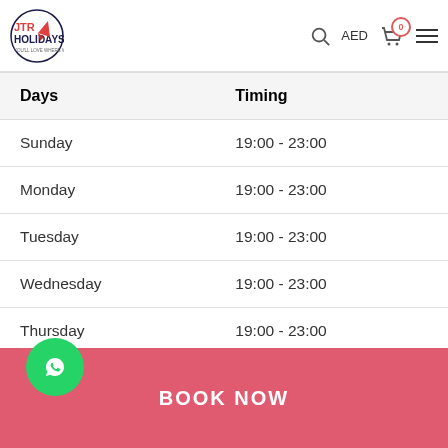[Figure (logo): JTR Holidays logo with travel icon and tagline 'YOU'LL LOVE WHERE WE TAKE YOU']
| Days | Timing |
| --- | --- |
| Sunday | 19:00 - 23:00 |
| Monday | 19:00 - 23:00 |
| Tuesday | 19:00 - 23:00 |
| Wednesday | 19:00 - 23:00 |
| Thursday | 19:00 - 23:00 |
| Friday | 19:00 - 23:00 |
| Saturday | 19:00 - 23:00 |
Timing Notes: Exact Pickup time will be advised during the final confirmation